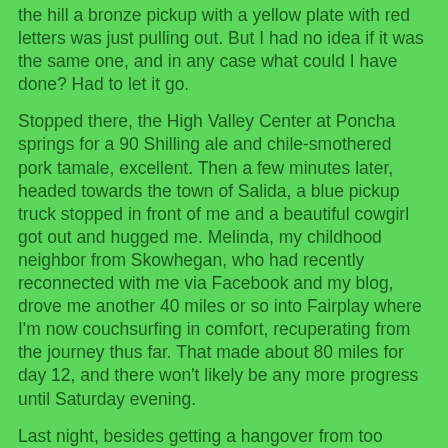the hill a bronze pickup with a yellow plate with red letters was just pulling out. But I had no idea if it was the same one, and in any case what could I have done? Had to let it go.
Stopped there, the High Valley Center at Poncha springs for a 90 Shilling ale and chile-smothered pork tamale, excellent. Then a few minutes later, headed towards the town of Salida, a blue pickup truck stopped in front of me and a beautiful cowgirl got out and hugged me. Melinda, my childhood neighbor from Skowhegan, who had recently reconnected with me via Facebook and my blog, drove me another 40 miles or so into Fairplay where I'm now couchsurfing in comfort, recuperating from the journey thus far. That made about 80 miles for day 12, and there won't likely be any more progress until Saturday evening.
Last night, besides getting a hangover from too much beer, my system adjusted to the high altitude (over 10000 feet) by gasping for breath every few minutes, waking me each time. Should go easier tonight. [comment]
2009-08-10-2354Z
Made it to mp 13 of 285 by 1730 to complete 35 miles for day 13.